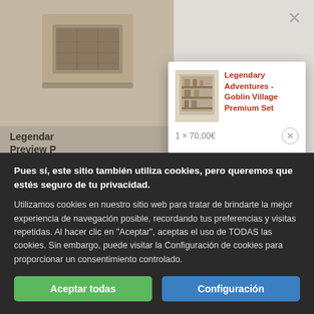[Figure (screenshot): Background page showing a product listing with a partial product image (stone/ruin box set) and product name 'Legendary Adventures Preview P...' with price 29.99€ partially visible]
[Figure (screenshot): Modal popup showing product: Legendary Adventures - Goblin Village Premium Set, price 1 × 70,00€, with a small product thumbnail and a remove (X) button]
Legendary Adventures - Goblin Village Premium Set
1 × 70,00€
Pues sí, este sitio también utiliza cookies, pero queremos que estés seguro de tu privacidad.
Utilizamos cookies en nuestro sitio web para tratar de brindarte la mejor experiencia de navegación posible, recordando tus preferencias y visitas repetidas. Al hacer clic en "Aceptar", aceptas el uso de TODAS las cookies. Sin embargo, puede visitar la Configuración de cookies para proporcionar un consentimiento controlado.
Aceptar todas
Configuración